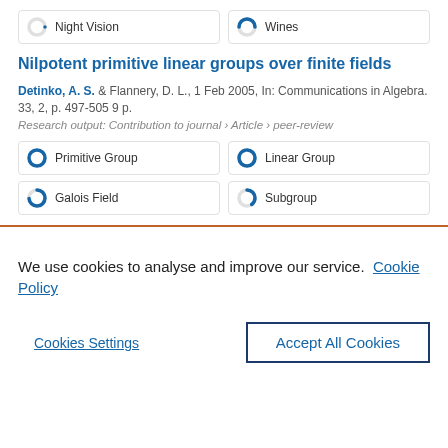[Figure (infographic): Two keyword badges: 'Night Vision' with ~0% donut icon and 'Wines' with ~50% donut icon]
Nilpotent primitive linear groups over finite fields
Detinko, A. S. & Flannery, D. L., 1 Feb 2005, In: Communications in Algebra. 33, 2, p. 497-505 9 p.
Research output: Contribution to journal › Article › peer-review
[Figure (infographic): Four keyword badges: 'Primitive Group' ~100%, 'Linear Group' ~90%, 'Galois Field' ~70%, 'Subgroup' ~40%]
We use cookies to analyse and improve our service. Cookie Policy
Cookies Settings    Accept All Cookies